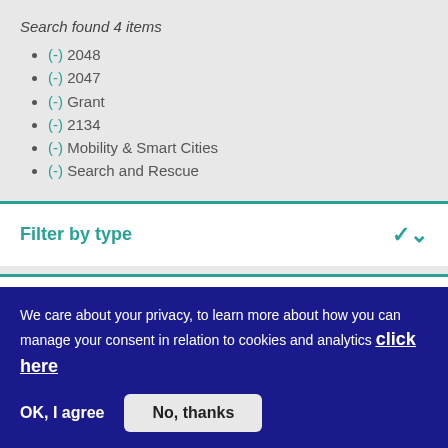Search found 4 items
(-) 2048
(-) 2047
(-) Grant
(-) 2134
(-) Mobility & Smart Cities
(-) Search and Rescue
Filter by type
Filter by status
We care about your privacy, to learn more about how you can manage your consent in relation to cookies and analytics click here
OK, I agree
No, thanks